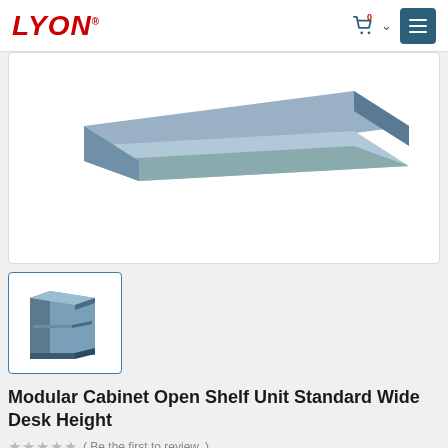LYON
[Figure (illustration): 3D isometric illustration of a metal shelf panel/top surface in blue-gray color, shown from slightly above and to the right, occupying the main product image area.]
[Figure (illustration): Thumbnail image of a Modular Cabinet Open Shelf Unit, showing a small blue-gray open shelving cabinet with one shelf, 3D isometric view.]
Modular Cabinet Open Shelf Unit Standard Wide Desk Height
( Be the first to review. )
$974.48